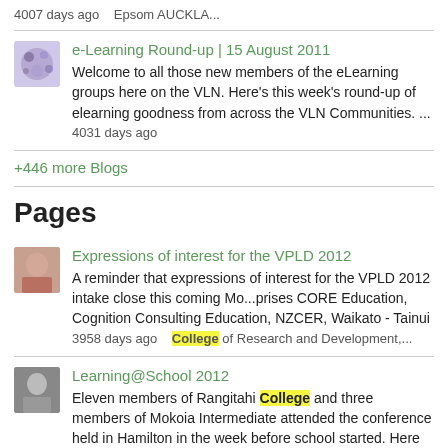4007 days ago   Epsom AUCKLA...
e-Learning Round-up | 15 August 2011
Welcome to all those new members of the eLearning groups here on the VLN. Here's this week's round-up of elearning goodness from across the VLN Communities.  ...
4031 days ago
+446 more Blogs
Pages
Expressions of interest for the VPLD 2012
A reminder that expressions of interest for the VPLD 2012 intake close this coming Mo...prises CORE Education, Cognition Consulting Education, NZCER, Waikato - Tainui
3958 days ago   College of Research and Development,...
Learning@School 2012
Eleven members of Rangitahi College and three members of Mokoia Intermediate attended the conference held in Hamilton in the week before school started. Here are our